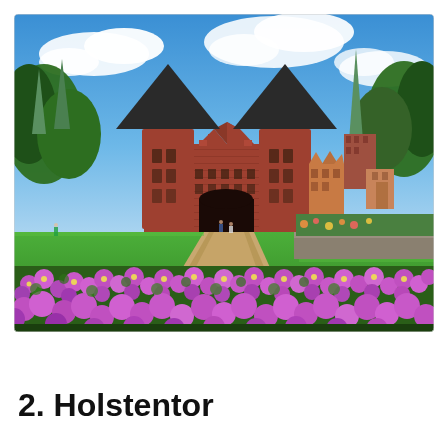[Figure (photo): Photograph of the Holstentor (Holstein Gate) in Lübeck, Germany. The iconic medieval brick gatehouse with two large dark conical towers is centered in the image. Behind it rise brick church steeples with green patina copper spires. The foreground features vibrant purple/violet flowers in bloom with lush green lawn leading to a gravel path toward the gate. The sky is bright blue with white clouds. Trees flank both sides.]
2. Holstentor